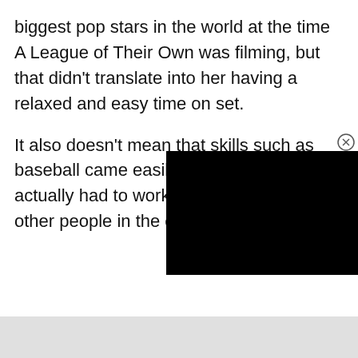biggest pop stars in the world at the time A League of Their Own was filming, but that didn't translate into her having a relaxed and easy time on set.

It also doesn't mean that skills such as baseball came easily to her, as she actually had to work harder than a lot of other people in the cast.
[Figure (other): Black video player overlay in the bottom-right area of the page with a close (X) button]